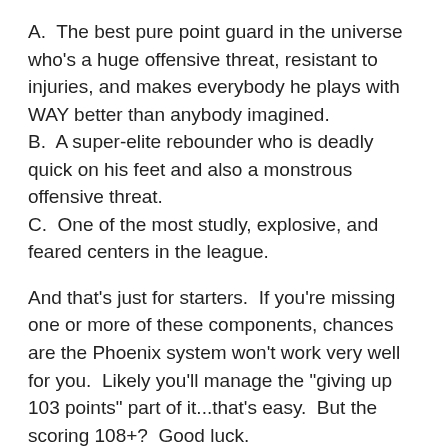A.  The best pure point guard in the universe who's a huge offensive threat, resistant to injuries, and makes everybody he plays with WAY better than anybody imagined.
B.  A super-elite rebounder who is deadly quick on his feet and also a monstrous offensive threat.
C.  One of the most studly, explosive, and feared centers in the league.
And that's just for starters.  If you're missing one or more of these components, chances are the Phoenix system won't work very well for you.  Likely you'll manage the "giving up 103 points" part of it...that's easy.  But the scoring 108+?  Good luck.
That's why Nate just coming out and saying, "Look, we're going against the grain but this is still a decent